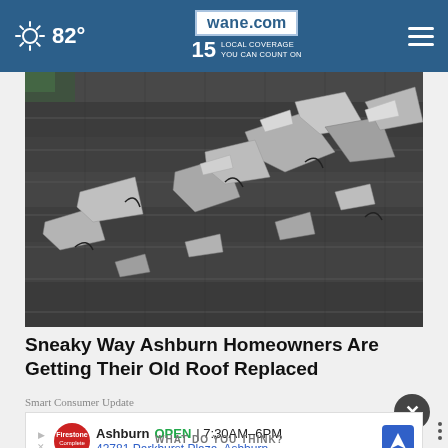82° wane.com 15 LOCAL COVERAGE YOU CAN COUNT ON
[Figure (photo): Close-up photograph of damaged, curling, and cracked asphalt roof shingles in black and white tones]
Sneaky Way Ashburn Homeowners Are Getting Their Old Roof Replaced
Smart Consumer Update
Ashburn OPEN 7:30AM–6PM 43781 Parkhurst Plaza, Ashburn
WHAT DO YOU THINK?